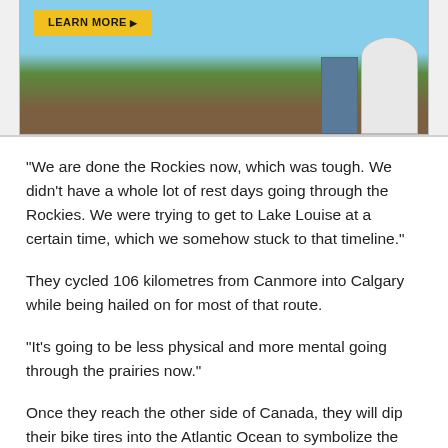[Figure (photo): Advertisement banner with a yellow 'LEARN MORE' button over a rural landscape with silos]
"We are done the Rockies now, which was tough. We didn't have a whole lot of rest days going through the Rockies. We were trying to get to Lake Louise at a certain time, which we somehow stuck to that timeline."
They cycled 106 kilometres from Canmore into Calgary while being hailed on for most of that route.
"It's going to be less physical and more mental going through the prairies now."
Once they reach the other side of Canada, they will dip their bike tires into the Atlantic Ocean to symbolize the end of the ride.
The total trip will be just over 8,000 kilometres.